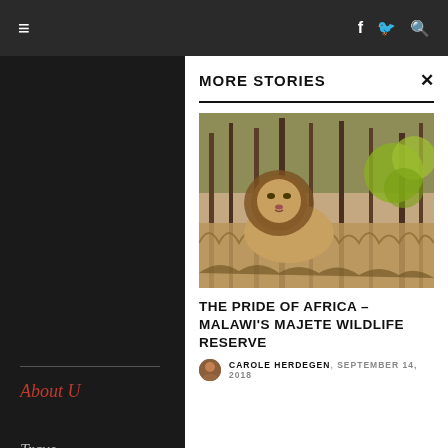≡  f  🐦  🔍
[Figure (screenshot): Dark background with forest/trees visible behind modal panel, and partial left sidebar showing 'About Us' and 'Travel' links in red/grey italic text]
MORE STORIES
[Figure (photo): A lion standing among dry brush and trees in a wildlife reserve]
THE PRIDE OF AFRICA – MALAWI'S MAJETE WILDLIFE RESERVE
CAROLE HERDEGEN, SEPTEMBER 14, 2018